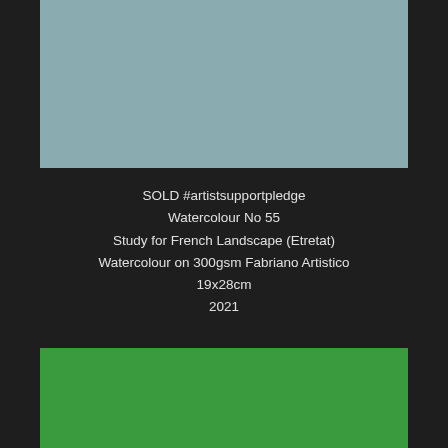[Figure (photo): Top portion of a watercolour painting showing a muted blue-grey sky or water area]
SOLD #artistsupportpledge
Watercolour No 55
Study for French Landscape (Etretat)
Watercolour on 300gsm Fabriano Artistico
19x28cm
2021
[Figure (photo): Bottom portion of a watercolour painting showing a green landscape area]